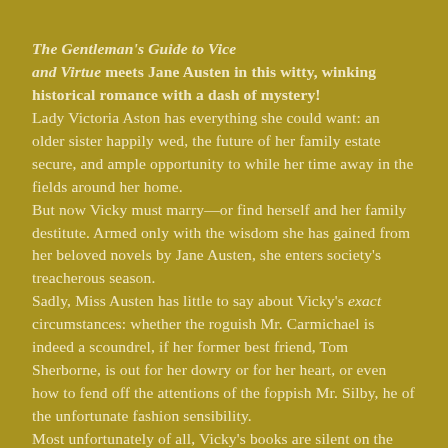The Gentleman's Guide to Vice and Virtue meets Jane Austen in this witty, winking historical romance with a dash of mystery! Lady Victoria Aston has everything she could want: an older sister happily wed, the future of her family estate secure, and ample opportunity to while her time away in the fields around her home. But now Vicky must marry—or find herself and her family destitute. Armed only with the wisdom she has gained from her beloved novels by Jane Austen, she enters society's treacherous season. Sadly, Miss Austen has little to say about Vicky's exact circumstances: whether the roguish Mr. Carmichael is indeed a scoundrel, if her former best friend, Tom Sherborne, is out for her dowry or for her heart, or even how to fend off the attentions of the foppish Mr. Silby, he of the unfortunate fashion sensibility. Most unfortunately of all, Vicky's books are silent on the